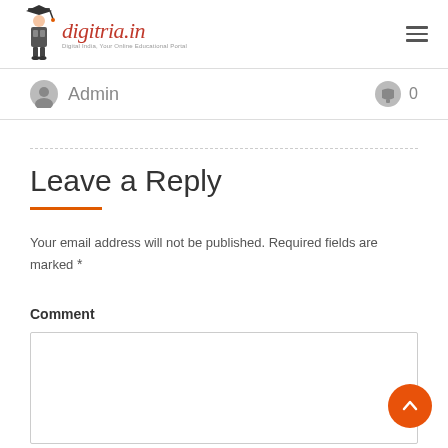digitria.in — Digital India, Your Online Educational Portal
Admin   0
Leave a Reply
Your email address will not be published. Required fields are marked *
Comment